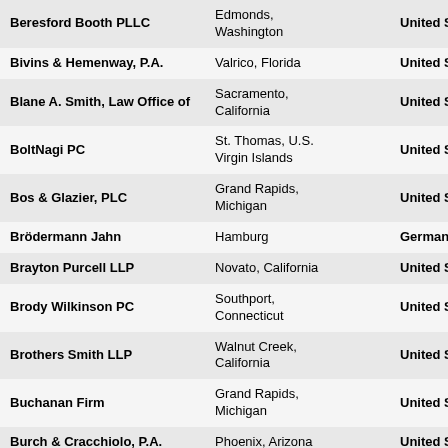| Firm Name | City/Region | Country |
| --- | --- | --- |
| Beresford Booth PLLC | Edmonds, Washington | United States |
| Bivins & Hemenway, P.A. | Valrico, Florida | United States |
| Blane A. Smith, Law Office of | Sacramento, California | United States |
| BoltNagi PC | St. Thomas, U.S. Virgin Islands | United States |
| Bos & Glazier, PLC | Grand Rapids, Michigan | United States |
| Brödermann Jahn | Hamburg | Germany |
| Brayton Purcell LLP | Novato, California | United States |
| Brody Wilkinson PC | Southport, Connecticut | United States |
| Brothers Smith LLP | Walnut Creek, California | United States |
| Buchanan Firm | Grand Rapids, Michigan | United States |
| Burch & Cracchiolo, P.A. | Phoenix, Arizona | United States |
C  [Back To Top]
| Firm Name | City/Region | Country |
| --- | --- | --- |